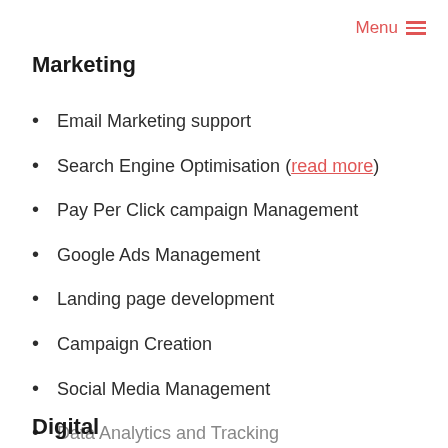Menu
Marketing
Email Marketing support
Search Engine Optimisation (read more)
Pay Per Click campaign Management
Google Ads Management
Landing page development
Campaign Creation
Social Media Management
Data Analytics and Tracking
Digital